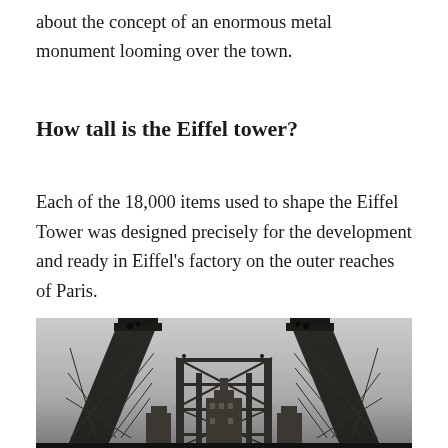about the concept of an enormous metal monument looming over the town.
How tall is the Eiffel tower?
Each of the 18,000 items used to shape the Eiffel Tower was designed precisely for the development and ready in Eiffel's factory on the outer reaches of Paris.
[Figure (photo): Black and white historical photograph showing the early construction of the Eiffel Tower, with two large latticed metal leg structures rising symmetrically, scaffolding visible between them, and Paris buildings in the background.]